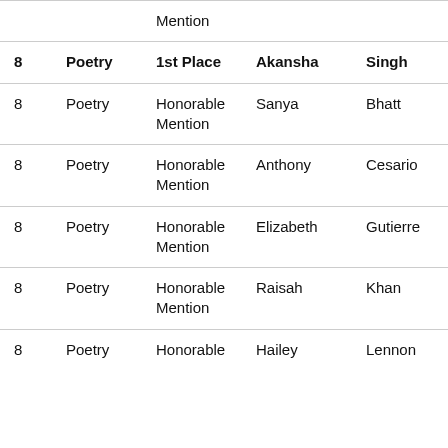| Grade | Category | Award | First Name | Last Name |
| --- | --- | --- | --- | --- |
| 8 | Poetry | Honorable Mention |  |  |
| 8 | Poetry | 1st Place | Akansha | Singh |
| 8 | Poetry | Honorable Mention | Sanya | Bhatt |
| 8 | Poetry | Honorable Mention | Anthony | Cesario |
| 8 | Poetry | Honorable Mention | Elizabeth | Gutierre |
| 8 | Poetry | Honorable Mention | Raisah | Khan |
| 8 | Poetry | Honorable | Hailey | Lennon |